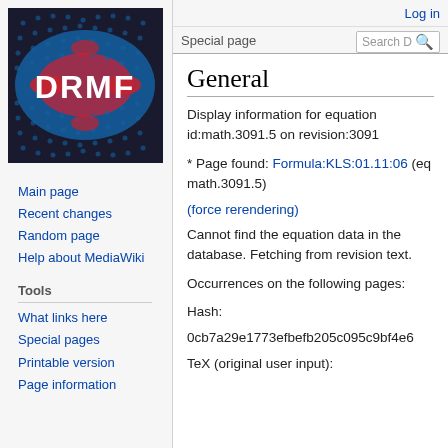[Figure (logo): DRMF logo: colorful op-art pattern with 'DRMF' text in white on blue/red dotted grid]
Main page
Recent changes
Random page
Help about MediaWiki
Tools
What links here
Special pages
Printable version
Page information
Log in
Special page
General
Display information for equation id:math.3091.5 on revision:3091
* Page found: Formula:KLS:01.11:06 (eq math.3091.5)
(force rerendering)
Cannot find the equation data in the database. Fetching from revision text.
Occurrences on the following pages:
Hash:
0cb7a29e1773efbefb205c095c9bf4e6
TeX (original user input):